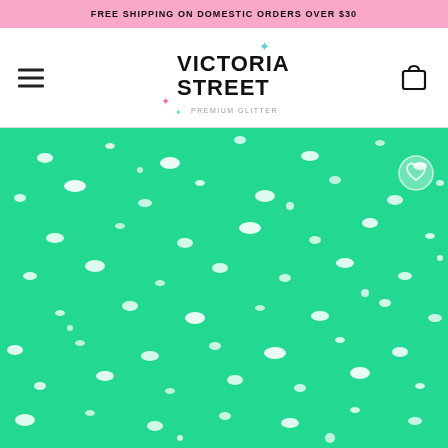FREE SHIPPING ON DOMESTIC ORDERS OVER $30
[Figure (logo): Victoria Street Premium Glitter logo with sparkle stars in pink and teal]
[Figure (photo): Close-up macro photo of teal/mint green glitter with white sparkle highlights]